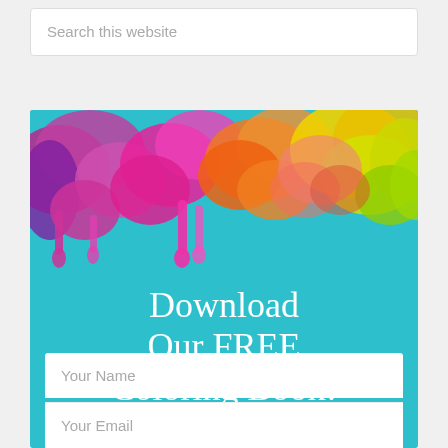Search this website
[Figure (illustration): Colorful paint splashes in pink, purple, magenta, orange, yellow, and green on a teal/turquoise background, forming the top portion of a promotional signup banner.]
Download Our FREE Coloring Book!
Your Name
Your Email